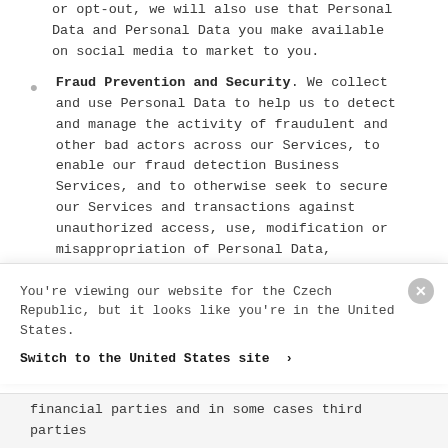or opt-out, we will also use that Personal Data and Personal Data you make available on social media to market to you.
Fraud Prevention and Security. We collect and use Personal Data to help us to detect and manage the activity of fraudulent and other bad actors across our Services, to enable our fraud detection Business Services, and to otherwise seek to secure our Services and transactions against unauthorized access, use, modification or misappropriation of Personal Data, information and funds. In connection with fraud and security monitoring, prevention, detection, and compliance activities for Stripe and its Business Users, we
You're viewing our website for the Czech Republic, but it looks like you're in the United States.
Switch to the United States site ›
financial parties and in some cases third parties